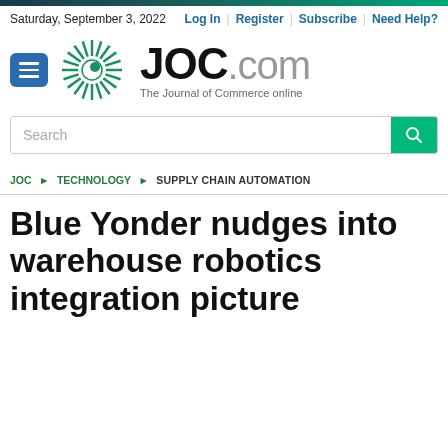Saturday, September 3, 2022 | Log In | Register | Subscribe | Need Help?
[Figure (logo): JOC.com – The Journal of Commerce online logo with green spiral emblem and blue menu button]
Search
JOC ▶ TECHNOLOGY ▶ SUPPLY CHAIN AUTOMATION
Blue Yonder nudges into warehouse robotics integration picture